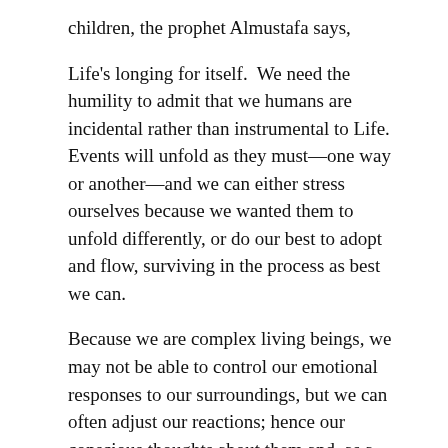children, the prophet Almustafa says,
Life's longing for itself.  We need the humility to admit that we humans are incidental rather than instrumental to Life.  Events will unfold as they must—one way or another—and we can either stress ourselves because we wanted them to unfold differently, or do our best to adopt and flow, surviving in the process as best we can.
Because we are complex living beings, we may not be able to control our emotional responses to our surroundings, but we can often adjust our reactions; hence our conscious thoughts about them and, as a result, we change our feelings."
We know that we are different from one another and therefore we inevitably react differently to circumstances. Says Steve: “Yes, our personalities have been layered over the years from a mix of different